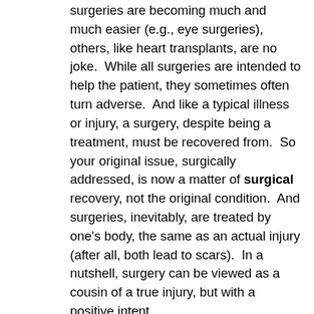surgeries are becoming much and much easier (e.g., eye surgeries), others, like heart transplants, are no joke.  While all surgeries are intended to help the patient, they sometimes often turn adverse.  And like a typical illness or injury, a surgery, despite being a treatment, must be recovered from.  So your original issue, surgically addressed, is now a matter of surgical recovery, not the original condition.  And surgeries, inevitably, are treated by one's body, the same as an actual injury (after all, both lead to scars).  In a nutshell, surgery can be viewed as a cousin of a true injury, but with a positive intent.
3. The medical and legal professions meet on a horrendous frequency, i.e., when one is injured or dies from medical malpractice.  In fact, some doctors are lawyers as well!   And this is where things get really ugly.  (Insurance often ties in, by the way.)